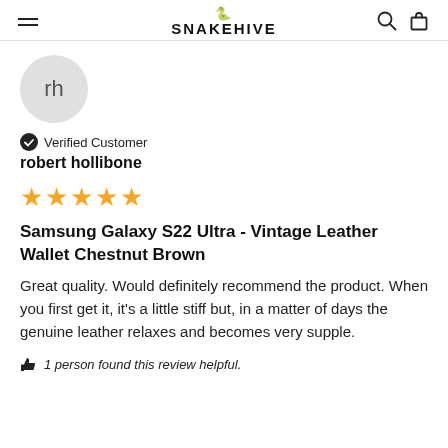SNAKEHIVE
[Figure (illustration): User avatar circle with initials 'rh' on grey background]
Verified Customer
robert hollibone
[Figure (other): 5 gold stars rating]
Samsung Galaxy S22 Ultra - Vintage Leather Wallet Chestnut Brown
Great quality. Would definitely recommend the product. When you first get it, it's a little stiff but, in a matter of days the genuine leather relaxes and becomes very supple.
1 person found this review helpful.